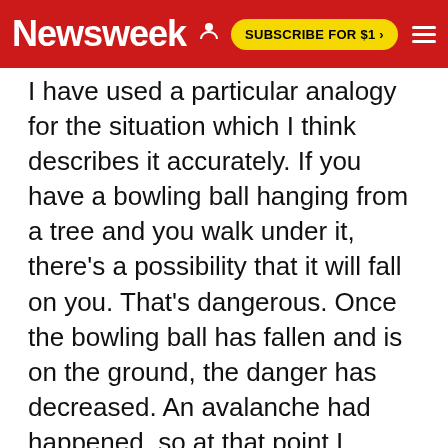Newsweek | SUBSCRIBE FOR $1 >
I have used a particular analogy for the situation which I think describes it accurately. If you have a bowling ball hanging from a tree and you walk under it, there's a possibility that it will fall on you. That's dangerous. Once the bowling ball has fallen and is on the ground, the danger has decreased. An avalanche had happened, so at that point I wasn't overly concerned and I didn't think it would be a dangerous descent.
Unfortunately, as soon as I dropped down onto